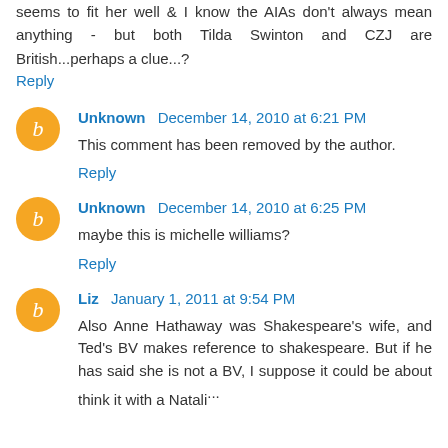seems to fit her well & I know the AIAs don't always mean anything - but both Tilda Swinton and CZJ are British...perhaps a clue...?
Reply
Unknown December 14, 2010 at 6:21 PM — This comment has been removed by the author.
Reply
Unknown December 14, 2010 at 6:25 PM — maybe this is michelle williams?
Reply
Liz January 1, 2011 at 9:54 PM — Also Anne Hathaway was Shakespeare's wife, and Ted's BV makes reference to shakespeare. But if he has said she is not a BV, I suppose it could be about think it with a Natalie...